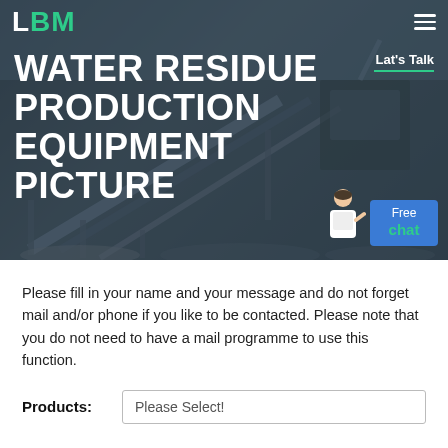[Figure (screenshot): Hero banner with industrial machinery/conveyor equipment in dark blue-grey background]
WATER RESIDUE PRODUCTION EQUIPMENT PICTURE
Please fill in your name and your message and do not forget mail and/or phone if you like to be contacted. Please note that you do not need to have a mail programme to use this function.
| Products: | Please Select! |
| --- | --- |